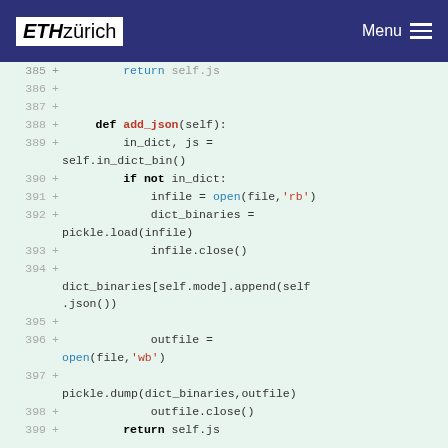ETH zürich | Menu
[Figure (screenshot): Python source code diff view showing lines 386-399 of a file, with line numbers, plus signs indicating added lines, and syntax-highlighted Python code including a method definition 'add_json', file I/O, pickle operations, and dictionary manipulation.]